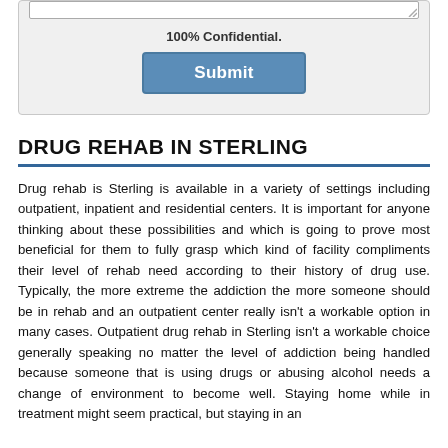[Figure (screenshot): Form box with textarea (showing resize handle), '100% Confidential.' text, and a blue Submit button]
DRUG REHAB IN STERLING
Drug rehab is Sterling is available in a variety of settings including outpatient, inpatient and residential centers. It is important for anyone thinking about these possibilities and which is going to prove most beneficial for them to fully grasp which kind of facility compliments their level of rehab need according to their history of drug use. Typically, the more extreme the addiction the more someone should be in rehab and an outpatient center really isn't a workable option in many cases. Outpatient drug rehab in Sterling isn't a workable choice generally speaking no matter the level of addiction being handled because someone that is using drugs or abusing alcohol needs a change of environment to become well. Staying home while in treatment might seem practical, but staying in an